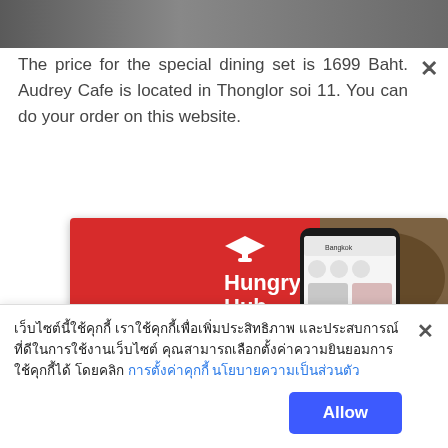[Figure (screenshot): Top cropped photo of food/restaurant setting]
The price for the special dining set is 1699 Baht. Audrey Cafe is located in Thonglor soi 11. You can do your order on this website.
[Figure (advertisement): Hungry Hub app advertisement banner with Thai text 'แอปจองมื้อพิเศษ อันดับ 1 ของไทย' and 'EAT | SLEEP | XPERIENCE', download free on Google Play and App Store]
เว็บไซต์นี้ใช้คุกกี้ เราใช้คุกกี้เพื่อเพิ่มประสิทธิภาพ และประสบการณ์ที่ดีในการใช้งานเว็บไซต์ คุณสามารถเลือกตั้งค่าความยินยอมการใช้คุกกี้ได้ โดยคลิก การตั้งค่าคุกกี้  นโยบายความเป็นส่วนตัว
Allow